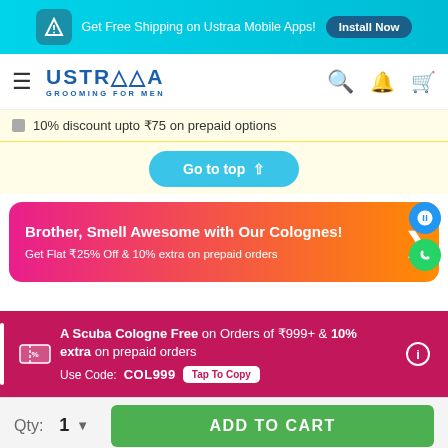Get Free Shipping on Ustraa Mobile Apps! Install Now
[Figure (logo): Ustraa Grooming For Men logo with hamburger menu and nav icons (search, bell, cart)]
10% discount upto ₹75 on prepaid options
Go to top ↑
Brother, Smell Awesome with Our Colognes! Get Flat ₹25% Off & 10% extra on prepaid orders
A Scuba Cologne Free on Orders of ₹999+ & 10% extra on prepaid orders
Use Code: COL999 Tap To Copy
Qty: 1 ▼ ADD TO CART